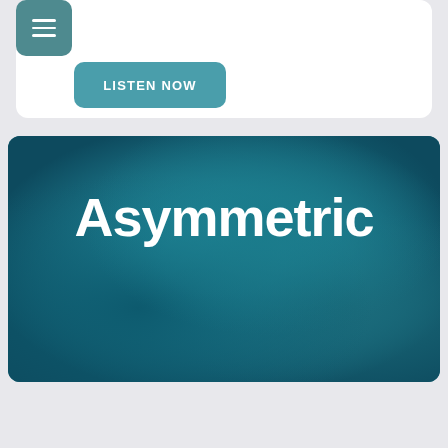[Figure (screenshot): Top white card with hamburger menu icon (teal square with three horizontal lines) and a teal 'LISTEN NOW' button]
[Figure (photo): Teal/blue textured stone background card with large white bold text 'Asymmetric' centered on it]
[Figure (other): Bottom teal bar with a loading indicator (three dots with a tail arc)]